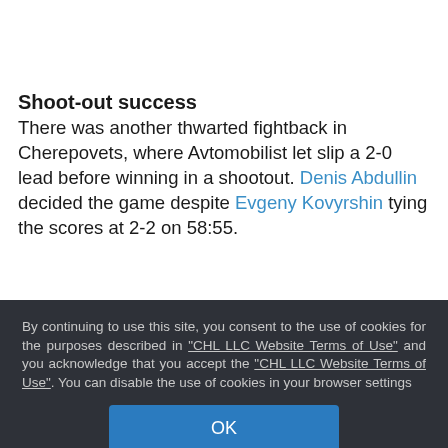Shoot-out success
There was another thwarted fightback in Cherepovets, where Avtomobilist let slip a 2-0 lead before winning in a shootout. Denis Abdullin decided the game despite Evgeny Kovyrshin tying the scores at 2-2 on 58:55.
By continuing to use this site, you consent to the use of cookies for the purposes described in "CHL LLC Website Terms of Use" and you acknowledge that you accept the "CHL LLC Website Terms of Use". You can disable the use of cookies in your browser settings